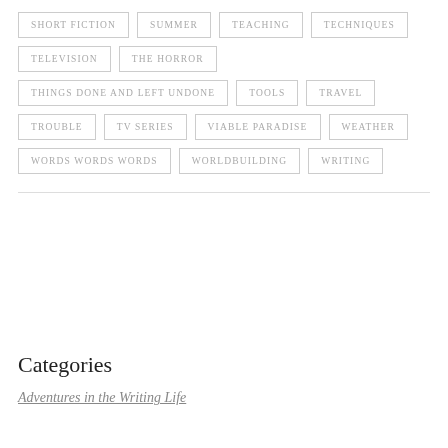SHORT FICTION
SUMMER
TEACHING
TECHNIQUES
TELEVISION
THE HORROR
THINGS DONE AND LEFT UNDONE
TOOLS
TRAVEL
TROUBLE
TV SERIES
VIABLE PARADISE
WEATHER
WORDS WORDS WORDS
WORLDBUILDING
WRITING
Categories
Adventures in the Writing Life